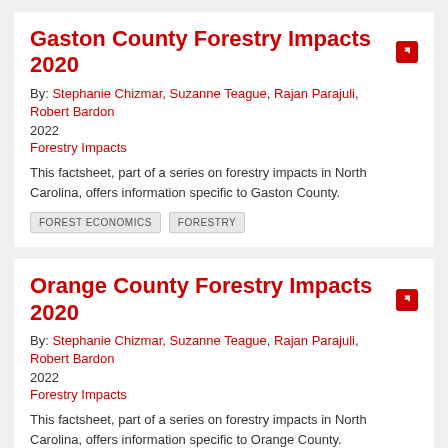Gaston County Forestry Impacts 2020
By: Stephanie Chizmar, Suzanne Teague, Rajan Parajuli, Robert Bardon
2022
Forestry Impacts
This factsheet, part of a series on forestry impacts in North Carolina, offers information specific to Gaston County.
FOREST ECONOMICS
FORESTRY
Orange County Forestry Impacts 2020
By: Stephanie Chizmar, Suzanne Teague, Rajan Parajuli, Robert Bardon
2022
Forestry Impacts
This factsheet, part of a series on forestry impacts in North Carolina, offers information specific to Orange County.